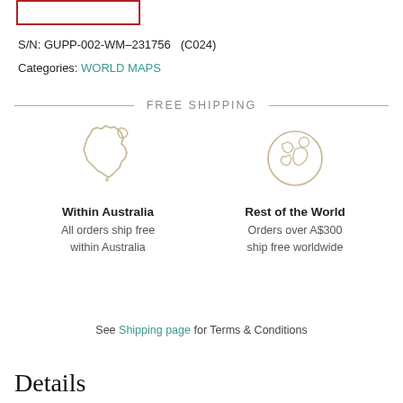[Figure (other): Red bordered box at top left (partial product image/label)]
S/N: GUPP-002-WM–231756   (C024)
Categories: WORLD MAPS
FREE SHIPPING
[Figure (illustration): Outline icon of Australia map]
Within Australia
All orders ship free within Australia
[Figure (illustration): Outline icon of globe/world]
Rest of the World
Orders over A$300 ship free worldwide
See Shipping page for Terms & Conditions
Details